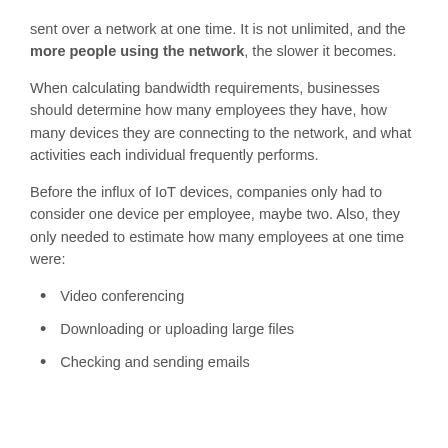sent over a network at one time. It is not unlimited, and the more people using the network, the slower it becomes.
When calculating bandwidth requirements, businesses should determine how many employees they have, how many devices they are connecting to the network, and what activities each individual frequently performs.
Before the influx of IoT devices, companies only had to consider one device per employee, maybe two. Also, they only needed to estimate how many employees at one time were:
Video conferencing
Downloading or uploading large files
Checking and sending emails